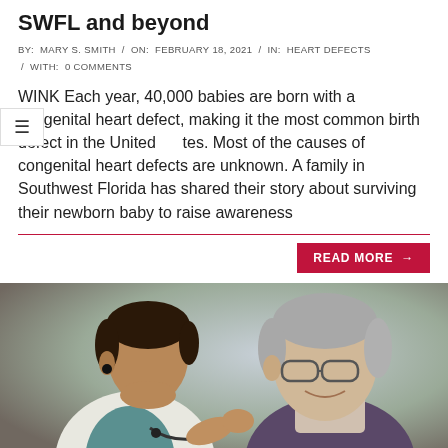SWFL and beyond
BY:  MARY S. SMITH  /  ON:  FEBRUARY 18, 2021  /  IN:  HEART DEFECTS  /  WITH:  0 COMMENTS
WINK Each year, 40,000 babies are born with a congenital heart defect, making it the most common birth defect in the United States. Most of the causes of congenital heart defects are unknown. A family in Southwest Florida has shared their story about surviving their newborn baby to raise awareness
READ MORE →
[Figure (photo): A doctor using a stethoscope to examine an older male patient. The doctor is younger with dark hair and the patient is elderly with gray hair and glasses, smiling.]